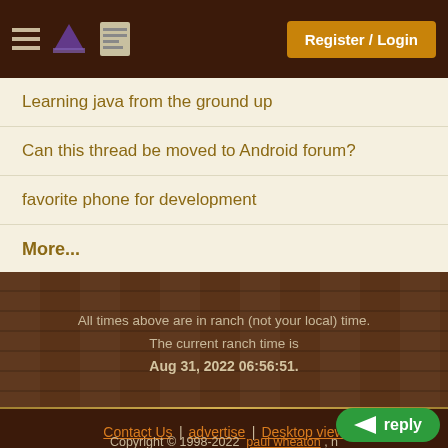Register / Login
Learning java from the ground up
Can this thread be moved to Android forum?
favorite phone for development
More...
All times above are in ranch (not your local) time. The current ranch time is Aug 31, 2022 06:56:51.
Contact Us | advertise | Desktop view
Copyright © 1998-2022 paul wheaton , n...